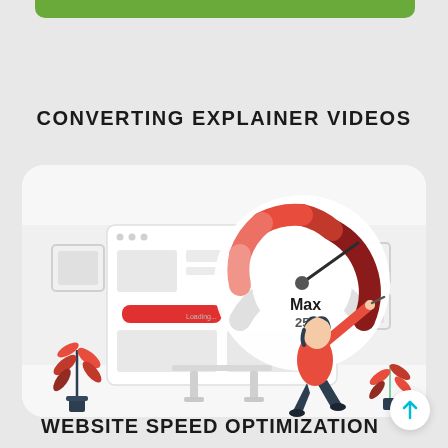CONVERTING EXPLAINER VIDEOS
[Figure (illustration): Illustration of a person optimizing website speed, with a browser window showing a loading bar and a large speedometer gauge reading Max 250, surrounded by decorative plants]
WEBSITE SPEED OPTIMIZATION